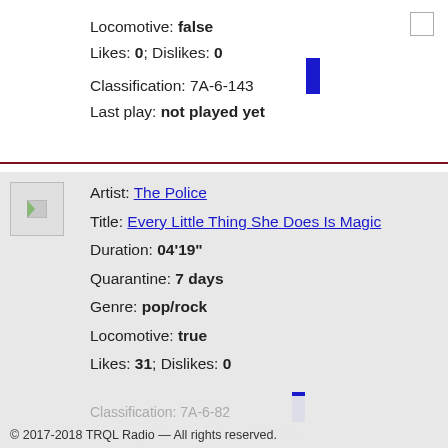Locomotive: false
Likes: 0; Dislikes: 0
Classification: 7A-6-143
Last play: not played yet
Artist: The Police
Title: Every Little Thing She Does Is Magic
Duration: 04'19"
Quarantine: 7 days
Genre: pop/rock
Locomotive: true
Likes: 31; Dislikes: 0
Classification: 7A-6-82
Last play: 06/10/2018 at 07:39:05
© 2017-2018 TRQL Radio — All rights reserved.